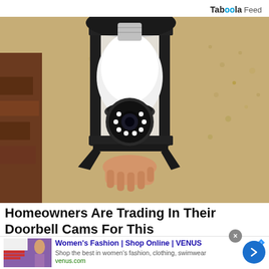Taboola Feed
[Figure (photo): A security camera shaped like a light bulb being installed in an outdoor wall lantern fixture mounted on a textured stucco wall. A hand is visible holding the camera bulb device up into the lantern.]
Homeowners Are Trading In Their Doorbell Cams For This
[Figure (screenshot): Advertisement thumbnail showing a website screenshot with a woman modeling fashion and text about Summer Sale.]
Women's Fashion | Shop Online | VENUS
Shop the best in women's fashion, clothing, swimwear
venus.com